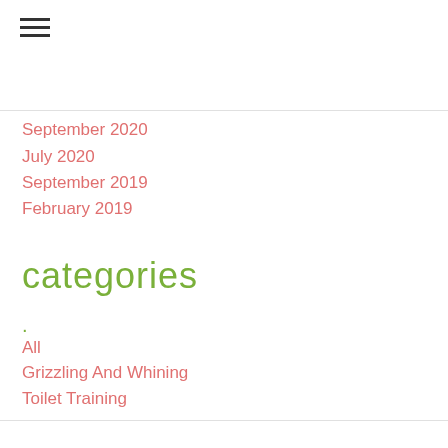[Figure (other): Hamburger menu icon with three horizontal lines]
September 2020
July 2020
September 2019
February 2019
categories
·
All
Grizzling And Whining
Toilet Training